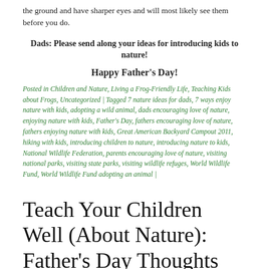the ground and have sharper eyes and will most likely see them before you do.
Dads: Please send along your ideas for introducing kids to nature!
Happy Father's Day!
Posted in Children and Nature, Living a Frog-Friendly Life, Teaching Kids about Frogs, Uncategorized | Tagged 7 nature ideas for dads, 7 ways enjoy nature with kids, adopting a wild animal, dads encouraging love of nature, enjoying nature with kids, Father's Day, fathers encouraging love of nature, fathers enjoying nature with kids, Great American Backyard Campout 2011, hiking with kids, introducing children to nature, introducing nature to kids, National Wildlife Federation, parents encouraging love of nature, visiting national parks, visiting state parks, visiting wildlife refuges, World Wildlife Fund, World Wildlife Fund adopting an animal |
Teach Your Children Well (About Nature): Father's Day Thoughts